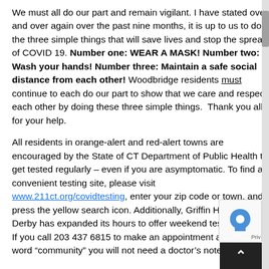We must all do our part and remain vigilant. I have stated over and over again over the past nine months, it is up to us to do the three simple things that will save lives and stop the spread of COVID 19. Number one: WEAR A MASK! Number two: Wash your hands! Number three: Maintain a safe social distance from each other! Woodbridge residents must continue to each do our part to show that we care and respect each other by doing these three simple things. Thank you all for your help.
All residents in orange-alert and red-alert towns are encouraged by the State of CT Department of Public Health to get tested regularly – even if you are asymptomatic. To find a convenient testing site, please visit www.211ct.org/covidtesting, enter your zip code or town, and press the yellow search icon. Additionally, Griffin Hospital in Derby has expanded its hours to offer weekend testing times. If you call 203 437 6815 to make an appointment and use the word "community" you will not need a doctor's note for a test.